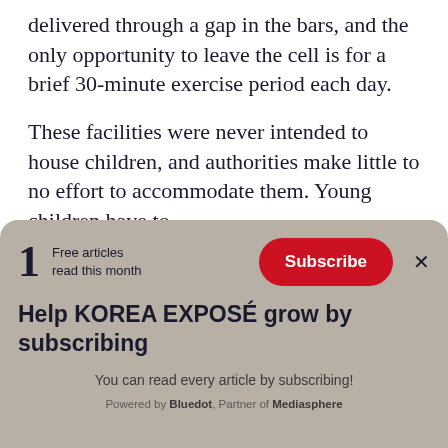delivered through a gap in the bars, and the only opportunity to leave the cell is for a brief 30-minute exercise period each day.
These facilities were never intended to house children, and authorities make little to no effort to accommodate them. Young children have to li...
[Figure (screenshot): Paywall overlay with subscription prompt for KOREA EXPOSÉ. Shows '1 Free articles read this month', a red Subscribe button, 'Help KOREA EXPOSÉ grow by subscribing' heading, 'You can read every article by subscribing!' subtext, and 'Powered by Bluedot, Partner of Mediasphere' footer.]